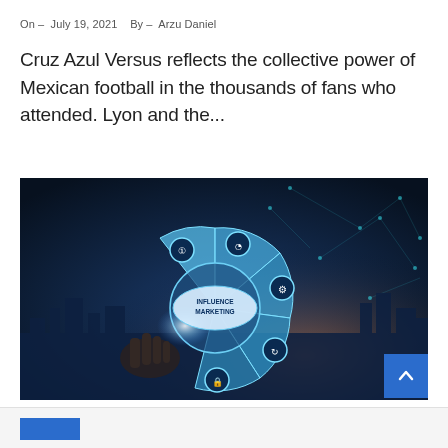On - July 19, 2021   By - Arzu Daniel
Cruz Azul Versus reflects the collective power of Mexican football in the thousands of fans who attended. Lyon and the...
[Figure (photo): A hand pointing at a holographic digital interface displaying 'Influence Marketing' surrounded by glowing fan-shaped segments with icons, against a dark city skyline at night with network node patterns.]
[Figure (other): Blue scroll-to-top button with upward chevron icon]